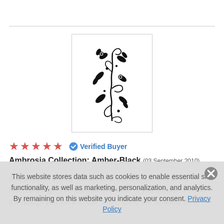[Figure (illustration): Black and white floral/botanical decorative illustration with swirling leaves and curls, in a bordered box]
★★★★★  ✓ Verified Buyer
Ambrosia Collection: Amber-Black (03 September 2010)
Ask anyone, & they will tell you, rub ons are one of my favorite things. I've learned over time, if you cut out, around the design you want to use, then, using the smallest bit of
This website stores data such as cookies to enable essential site functionality, as well as marketing, personalization, and analytics. By remaining on this website you indicate your consent. Privacy Policy